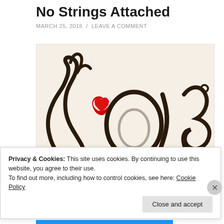No Strings Attached
MARCH 25, 2018 / LEAVE A COMMENT
[Figure (illustration): Cursive calligraphy illustration of the word 'love' in dark brown/black ink on a cream background, with a small red heart decorating the letter 'l'.]
Privacy & Cookies: This site uses cookies. By continuing to use this website, you agree to their use.
To find out more, including how to control cookies, see here: Cookie Policy
Close and accept